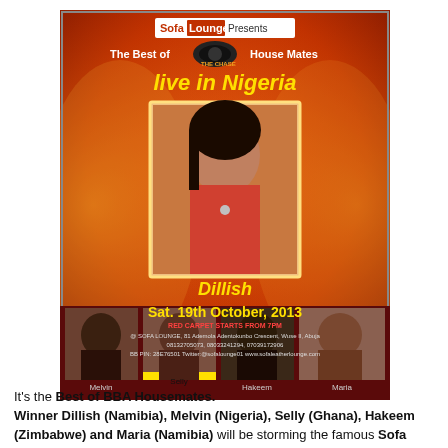[Figure (illustration): Event flyer for Sofa Lounge Presents 'The Best of Big Brother Africa House Mates live in Nigeria' featuring Dillish (winner), Melvin, Selly, Hakeem, and Maria. Event on Sat. 19th October, 2013. Red carpet starts from 7PM. Orange background with photos of the housemates.]
It's the Best of BBA Housemates. Winner Dillish (Namibia), Melvin (Nigeria), Selly (Ghana), Hakeem (Zimbabwe) and Maria (Namibia) will be storming the famous Sofa Lounge in Abuja this weekend. Come and party with the stars in one of the best places to be in